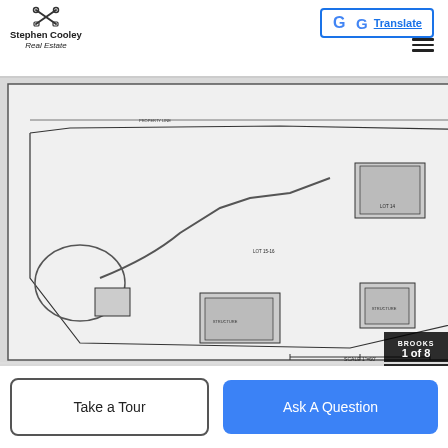[Figure (logo): Stephen Cooley Real Estate logo with crossed tools icon]
[Figure (other): Google Translate button with G logo]
[Figure (engineering-diagram): Detailed land survey/plat map blueprint showing property boundaries, structures, roads, and legal annotations for EWO Finance LLC, MDH-Overlook LLC, ITAC 458 LLC. Scale 1 inch = 60 feet. Brooks engineering firm stamp. Page 1 of 8.]
Take a Tour
Ask A Question